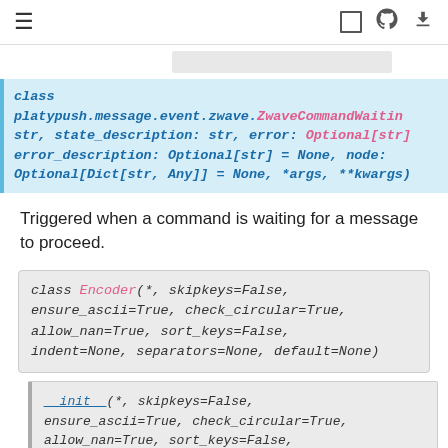≡  [ ]  (github)  (download)
class platypush.message.event.zwave.ZwaveCommandWaiting str, state_description: str, error: Optional[str] error_description: Optional[str] = None, node: Optional[Dict[str, Any]] = None, *args, **kwargs)
Triggered when a command is waiting for a message to proceed.
class Encoder(*, skipkeys=False, ensure_ascii=True, check_circular=True, allow_nan=True, sort_keys=False, indent=None, separators=None, default=None)
__init__(*, skipkeys=False, ensure_ascii=True, check_circular=True, allow_nan=True, sort_keys=False, indent=None, separators=None, default=None)